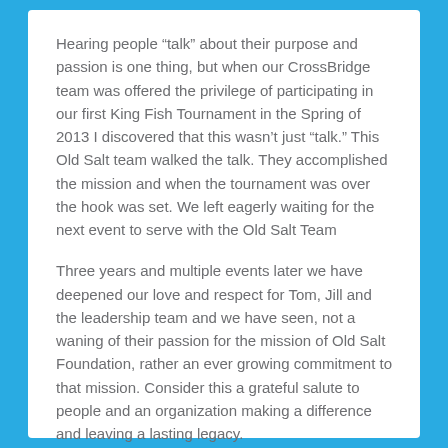Hearing people “talk” about their purpose and passion is one thing, but when our CrossBridge team was offered the privilege of participating in our first King Fish Tournament in the Spring of 2013 I discovered that this wasn’t just “talk.” This Old Salt team walked the talk. They accomplished the mission and when the tournament was over the hook was set. We left eagerly waiting for the next event to serve with the Old Salt Team
Three years and multiple events later we have deepened our love and respect for Tom, Jill and the leadership team and we have seen, not a waning of their passion for the mission of Old Salt Foundation, rather an ever growing commitment to that mission. Consider this a grateful salute to people and an organization making a difference and leaving a lasting legacy.